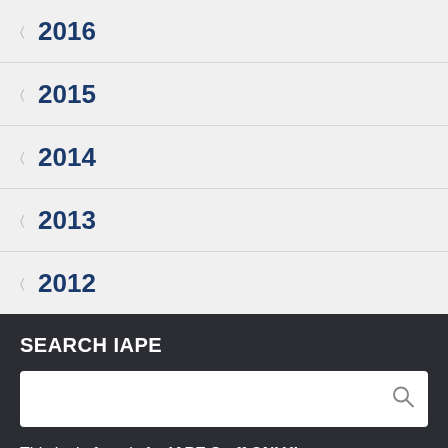2016
2015
2014
2013
2012
SEARCH IAPE
This login form is for IAPE Staff ONLY!
Username